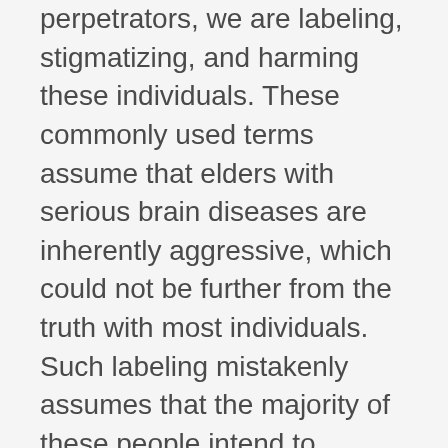perpetrators, we are labeling, stigmatizing, and harming these individuals. These commonly used terms assume that elders with serious brain diseases are inherently aggressive, which could not be further from the truth with most individuals. Such labeling mistakenly assumes that the majority of these people intend to mistreat, psychologically harm, injure, or kill their fellow residents—a common misconception. Besides the effect this type of language has on the care and treatment of elders, it is also not supported by a growing body of research studies on this phenomenon in the U.S. and abroad.
Even the term “behaviors” can be problematic, as it implies a negative